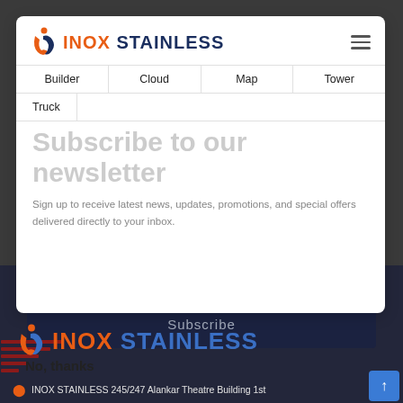[Figure (logo): INOX STAINLESS logo with orange S icon and two-tone text: orange INOX, dark blue STAINLESS]
Builder
Cloud
Map
Tower
Truck
Subscribe to our newsletter
Sign up to receive latest news, updates, promotions, and special offers delivered directly to your inbox.
Your mail address
Subscribe
[Figure (logo): INOX STAINLESS logo large version with orange S icon]
No, thanks
INOX STAINLESS  245/247 Alankar Theatre Building 1st